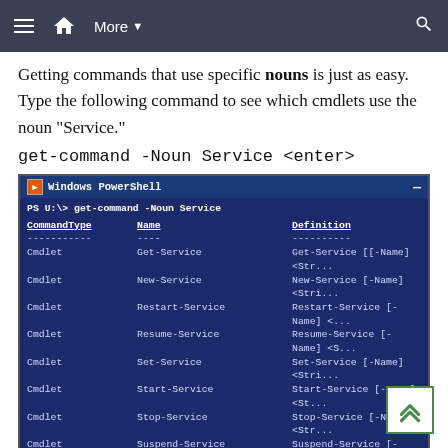≡ 🏠 More ▼ 🔍
Getting commands that use specific nouns is just as easy. Type the following command to see which cmdlets use the noun "Service."
get-command -Noun Service <enter>
[Figure (screenshot): Windows PowerShell terminal window showing output of 'get-command -Noun Service' command. Lists CommandType (Cmdlet), Name (Get-Service, New-Service, Restart-Service, Resume-Service, Set-Service, Start-Service, Stop-Service, Suspend-Service), and Definition columns.]
Image 2.3
Just as it sounds, the verb describes an action and the noun describes the "what" to take the action against. One